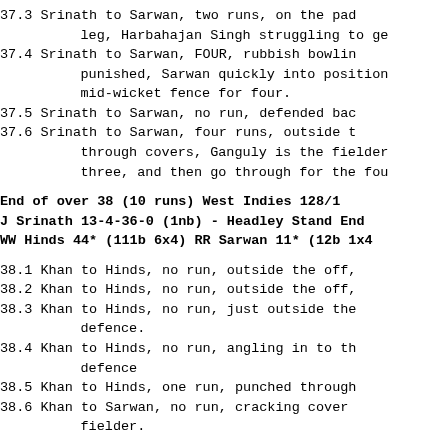37.3 Srinath to Sarwan, two runs, on the pad leg, Harbahajan Singh struggling to ge
37.4 Srinath to Sarwan, FOUR, rubbish bowlin punished, Sarwan quickly into position mid-wicket fence for four.
37.5 Srinath to Sarwan, no run, defended bac
37.6 Srinath to Sarwan, four runs, outside t through covers, Ganguly is the fielder three, and then go through for the fou
End of over 38 (10 runs) West Indies 128/1
J Srinath 13-4-36-0 (1nb) - Headley Stand End
WW Hinds 44* (111b 6x4) RR Sarwan 11* (12b 1x4
38.1 Khan to Hinds, no run, outside the off,
38.2 Khan to Hinds, no run, outside the off,
38.3 Khan to Hinds, no run, just outside the defence.
38.4 Khan to Hinds, no run, angling in to th defence
38.5 Khan to Hinds, one run, punched through
38.6 Khan to Sarwan, no run, cracking cover fielder.
End of over 39 (1 run) West Indies 129/1